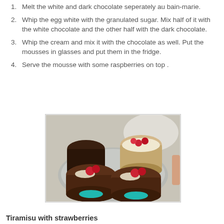Melt the white and dark chocolate seperately au bain-marie.
Whip the egg white with the granulated sugar. Mix half of it with the white chocolate and the other half with the dark chocolate.
Whip the cream and mix it with the chocolate as well. Put the mousses in glasses and put them in the fridge.
Serve the mousse with some raspberries on top .
[Figure (photo): Four glass cups of chocolate mousse topped with raspberries on a silver tray]
Tiramisu with strawberries